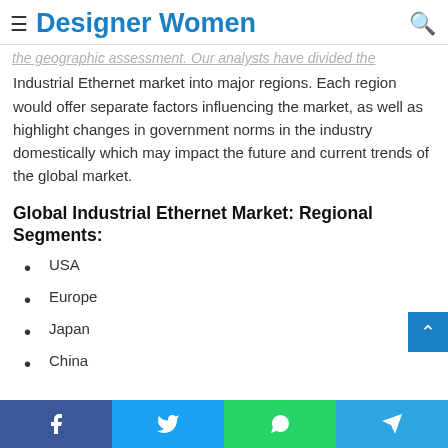Designer Women
the geographic assessment. Our analysts have divided the Industrial Ethernet market into major regions. Each region would offer separate factors influencing the market, as well as highlight changes in government norms in the industry domestically which may impact the future and current trends of the global market.
Global Industrial Ethernet Market: Regional Segments:
USA
Europe
Japan
China